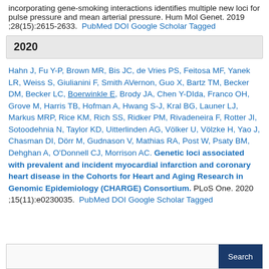incorporating gene-smoking interactions identifies multiple new loci for pulse pressure and mean arterial pressure. Hum Mol Genet. 2019 ;28(15):2615-2633. PubMed DOI Google Scholar Tagged
2020
Hahn J, Fu Y-P, Brown MR, Bis JC, de Vries PS, Feitosa MF, Yanek LR, Weiss S, Giulianini F, Smith AVernon, Guo X, Bartz TM, Becker DM, Becker LC, Boerwinkle E, Brody JA, Chen Y-DIda, Franco OH, Grove M, Harris TB, Hofman A, Hwang S-J, Kral BG, Launer LJ, Markus MRP, Rice KM, Rich SS, Ridker PM, Rivadeneira F, Rotter JI, Sotoodehnia N, Taylor KD, Uitterlinden AG, Völker U, Völzke H, Yao J, Chasman DI, Dörr M, Gudnason V, Mathias RA, Post W, Psaty BM, Dehghan A, O'Donnell CJ, Morrison AC. Genetic loci associated with prevalent and incident myocardial infarction and coronary heart disease in the Cohorts for Heart and Aging Research in Genomic Epidemiology (CHARGE) Consortium. PLoS One. 2020 ;15(11):e0230035. PubMed DOI Google Scholar Tagged